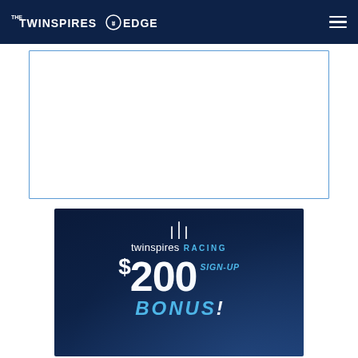THE TWINSPIRES EDGE
[Figure (other): Embedded content box with blue border, white interior (iframe/embed placeholder)]
[Figure (other): TwinSpires Racing advertisement banner: twinspires RACING $200 SIGN-UP BONUS! promotional graphic with dark navy background and blue accent text]